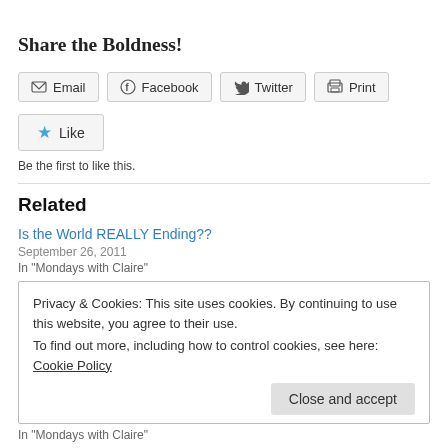Share the Boldness!
Email | Facebook | Twitter | Print (share buttons)
Like
Be the first to like this.
Related
Is the World REALLY Ending??
September 26, 2011
In "Mondays with Claire"
Privacy & Cookies: This site uses cookies. By continuing to use this website, you agree to their use.
To find out more, including how to control cookies, see here: Cookie Policy
Close and accept
In "Mondays with Claire"